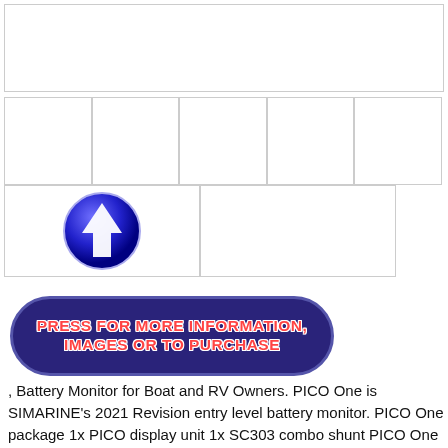[Figure (other): Top large image placeholder, blank white with border]
[Figure (other): Grid of 5 image placeholder cells in a row]
[Figure (other): Blue circular icon with white upward arrow]
[Figure (other): Dark blue rounded rectangle button with red/white text: PRESS FOR MORE INFORMATION, IMAGES OR TO PURCHASE]
, Battery Monitor for Boat and RV Owners. PICO One is SIMARINE’s 2021 Revision entry level battery monitor. PICO One package 1x PICO display unit 1x SC303 combo shunt PICO One package presents a perfect battery and tank monitoring solution for smaller boats